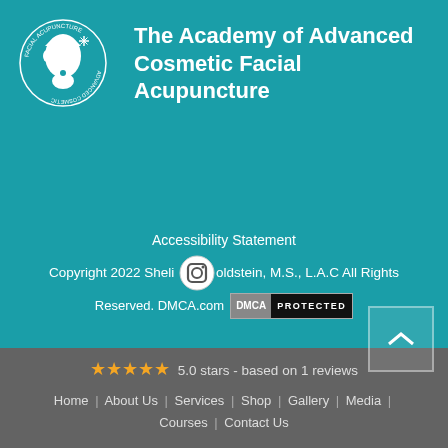[Figure (logo): Academy of Advanced Cosmetic Facial Acupuncture circular logo with white face silhouette on teal background]
The Academy of Advanced Cosmetic Facial Acupuncture
Accessibility Statement
Copyright 2022 Sheli Goldstein, M.S., L.A.C All Rights Reserved. DMCA.com DMCA PROTECTED
[Figure (logo): DMCA Protected badge]
5.0 stars - based on 1 reviews
Home | About Us | Services | Shop | Gallery | Media | Courses | Contact Us